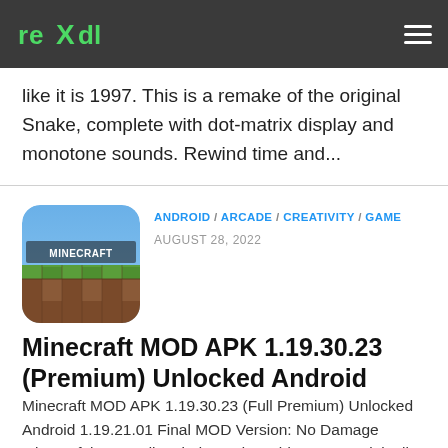rexdl logo and hamburger menu
like it is 1997. This is a remake of the original Snake, complete with dot-matrix display and monotone sounds. Rewind time and...
ANDROID / ARCADE / CREATIVITY / GAME
AUGUST 28, 2022
[Figure (photo): Minecraft app icon - square rounded icon showing grass blocks and sky, with MINECRAFT text]
Minecraft MOD APK 1.19.30.23 (Premium) Unlocked Android
Minecraft MOD APK 1.19.30.23 (Full Premium) Unlocked Android 1.19.21.01 Final MOD Version: No Damage Minecraft is a sandbox independent video game originally created by Swedish programmer